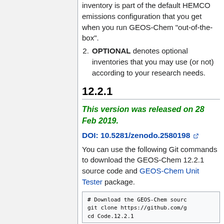inventory is part of the default HEMCO emissions configuration that you get when you run GEOS-Chem "out-of-the-box".
OPTIONAL denotes optional inventories that you may use (or not) according to your research needs.
12.2.1
This version was released on 28 Feb 2019.
DOI: 10.5281/zenodo.2580198
You can use the following Git commands to download the GEOS-Chem 12.2.1 source code and GEOS-Chem Unit Tester package.
# Download the GEOS-Chem sourc
git clone https://github.com/g
cd Code.12.2.1